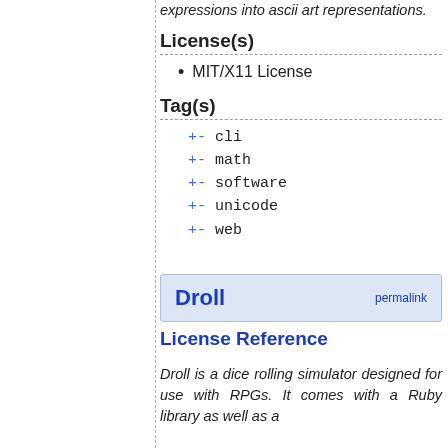expressions into ascii art representations.
License(s)
MIT/X11 License
Tag(s)
+- cli
+- math
+- software
+- unicode
+- web
Droll
License Reference
Droll is a dice rolling simulator designed for use with RPGs. It comes with a Ruby library as well as